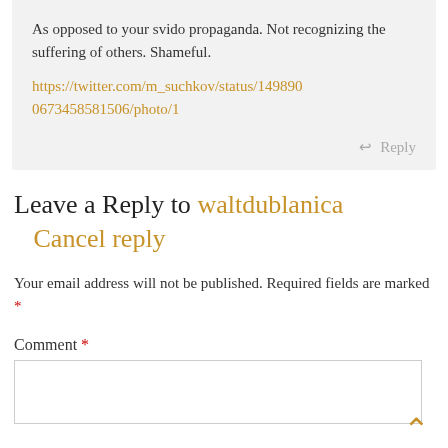As opposed to your svido propaganda. Not recognizing the suffering of others. Shameful.
https://twitter.com/m_suchkov/status/1498900673458581506/photo/1
Reply
Leave a Reply to waltdublanica  Cancel reply
Your email address will not be published. Required fields are marked *
Comment *